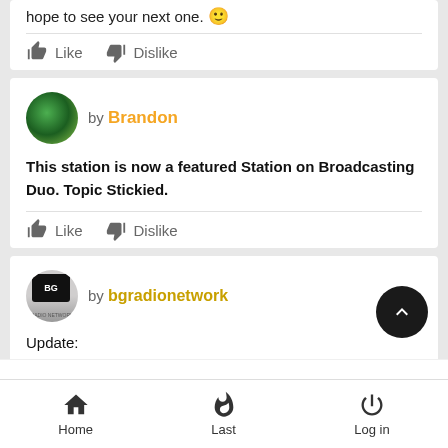hope to see your next one. 🙂
Like   Dislike
by Brandon
This station is now a featured Station on Broadcasting Duo. Topic Stickied.
Like   Dislike
by bgradionetwork
Update:
Home   Last   Log in